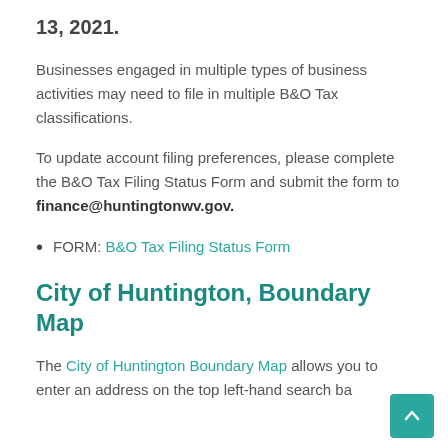13, 2021.
Businesses engaged in multiple types of business activities may need to file in multiple B&O Tax classifications.
To update account filing preferences, please complete the B&O Tax Filing Status Form and submit the form to finance@huntingtonwv.gov.
FORM: B&O Tax Filing Status Form
City of Huntington, Boundary Map
The City of Huntington Boundary Map allows you to enter an address on the top left-hand search ba…